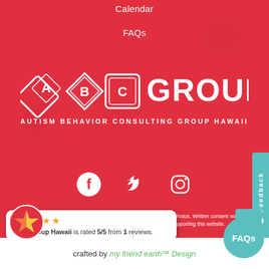Calendar
FAQs
[Figure (logo): ABC Group logo with stylized A, B, C block letters in white diamonds and squares, with text 'ABC GROUP' and 'AUTISM BEHAVIOR CONSULTING GROUP HAWAII' below on red background]
[Figure (infographic): Social media icons: Facebook, Twitter, Instagram in white on red background]
*Photos on this website are not actual clients, and are purchased stock photos. Written consent was obtained from parents by ABC Group Hawaii for media and marketing campaigns supporting this website.
[Figure (infographic): Review popup: ABC Group Hawaii is rated 5/5 from 1 reviews. Five gold stars shown.]
Copyright © 2022 ABC Group Hawaii | Privacy | Terms of Use
crafted by my friend earth™ Design